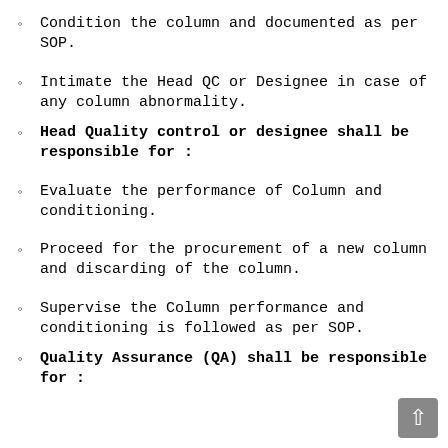Condition the column and documented as per SOP.
Intimate the Head QC or Designee in case of any column abnormality.
Head Quality control or designee shall be responsible for :
Evaluate the performance of Column and conditioning.
Proceed for the procurement of a new column and discarding of the column.
Supervise the Column performance and conditioning is followed as per SOP.
Quality Assurance (QA) shall be responsible for :